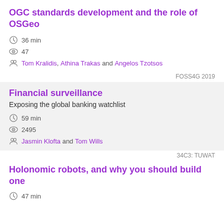OGC standards development and the role of OSGeo
36 min
47
Tom Kralidis, Athina Trakas and Angelos Tzotsos
FOSS4G 2019
Financial surveillance
Exposing the global banking watchlist
59 min
2495
Jasmin Klofta and Tom Wills
34C3: TUWAT
Holonomic robots, and why you should build one
47 min